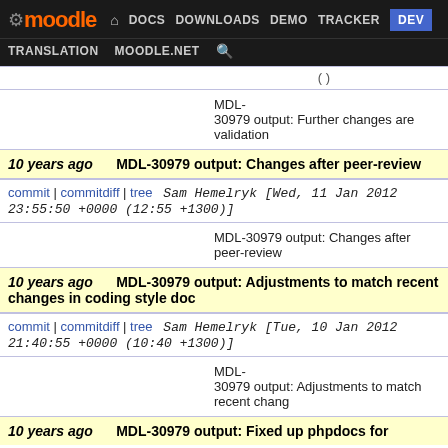moodle | DOCS | DOWNLOADS | DEMO | TRACKER | DEV | TRANSLATION | MOODLE.NET
( )
MDL-30979 output: Further changes are validation
10 years ago   MDL-30979 output: Changes after peer-review
commit | commitdiff | tree   Sam Hemelryk [Wed, 11 Jan 2012 23:55:50 +0000 (12:55 +1300)]
MDL-30979 output: Changes after peer-review
10 years ago   MDL-30979 output: Adjustments to match recent changes in coding style doc
commit | commitdiff | tree   Sam Hemelryk [Tue, 10 Jan 2012 21:40:55 +0000 (10:40 +1300)]
MDL-30979 output: Adjustments to match recent chang
10 years ago   MDL-30979 output: Fixed up phpdocs for